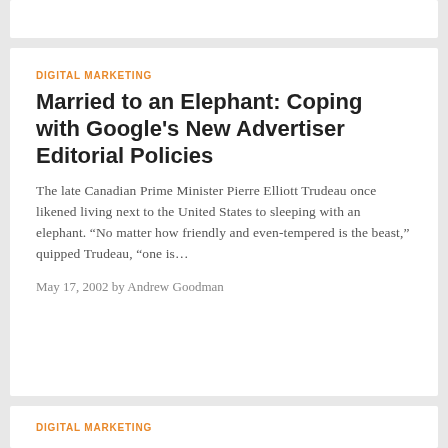DIGITAL MARKETING
Married to an Elephant: Coping with Google's New Advertiser Editorial Policies
The late Canadian Prime Minister Pierre Elliott Trudeau once likened living next to the United States to sleeping with an elephant. “No matter how friendly and even-tempered is the beast,” quipped Trudeau, “one is…
May 17, 2002 by Andrew Goodman
DIGITAL MARKETING